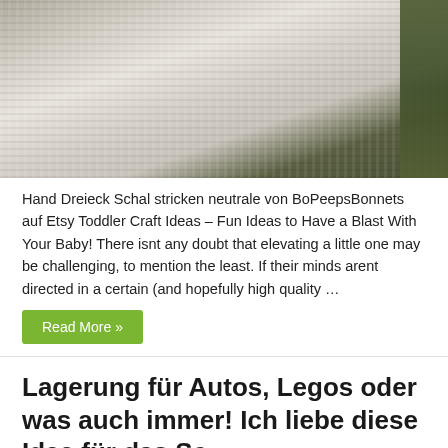[Figure (photo): Close-up photo of a hand-knitted triangular white/cream shawl with a green textured sleeve/arm visible on the right side, against a gray background]
Hand Dreieck Schal stricken neutrale von BoPeepsBonnets auf Etsy Toddler Craft Ideas – Fun Ideas to Have a Blast With Your Baby! There isnt any doubt that elevating a little one may be challenging, to mention the least. If their minds arent directed in a certain (and hopefully high quality …
Read More »
Lagerung für Autos, Legos oder was auch immer! Ich liebe diese Idee für das Sc…
October 4, 2019 · Toddler Bedroom · 2 Comments